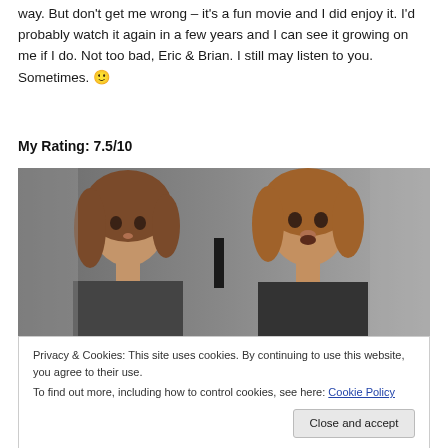way. But don't get me wrong – it's a fun movie and I did enjoy it. I'd probably watch it again in a few years and I can see it growing on me if I do. Not too bad, Eric & Brian. I still may listen to you. Sometimes. 🙂
My Rating: 7.5/10
[Figure (photo): A still from a movie showing a young woman with voluminous brown hair and a young man with reddish-brown hair, both looking surprised or alarmed, in what appears to be an indoor setting.]
Privacy & Cookies: This site uses cookies. By continuing to use this website, you agree to their use.
To find out more, including how to control cookies, see here: Cookie Policy
Close and accept